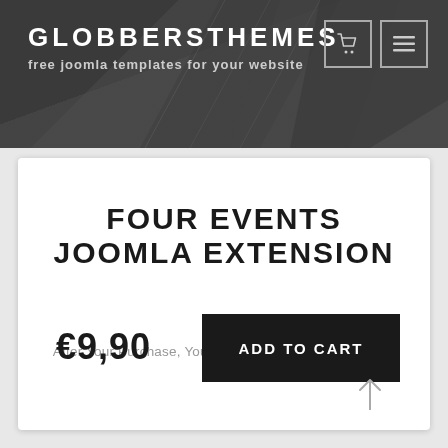GLOBBERSTHEMES
free joomla templates for your website
FOUR EVENTS JOOMLA EXTENSION
After Your Purchase, You Will Receive A Download Link
€9,90
ADD TO CART